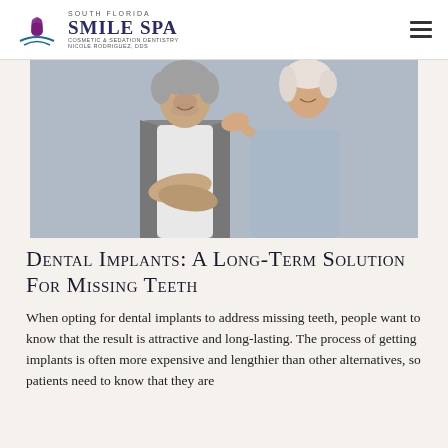SOUTH FLORIDA SMILE SPA — COSMETIC & SEDATION DENTISTRY — NICOLE RODRIGUEZ, DDS
[Figure (photo): An older couple smiling, the woman leaning affectionately on the man's shoulder. Both appear happy. The man has gray hair and is wearing a gray cardigan over a white shirt; the woman has white/blonde hair and is wearing a light blue top.]
Dental Implants: A Long-Term Solution For Missing Teeth
When opting for dental implants to address missing teeth, people want to know that the result is attractive and long-lasting. The process of getting implants is often more expensive and lengthier than other alternatives, so patients need to know that they are